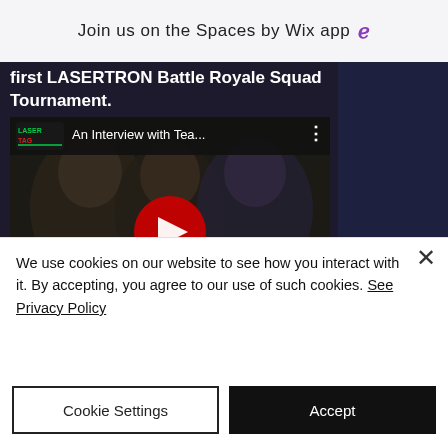Join us on the Spaces by Wix app ↓
[Figure (screenshot): YouTube video thumbnail showing 'An Interview with Tea...' from Laser Tag channel, with people in dark background and red YouTube play button overlay. Video title text reads 'first LASERTRON Battle Royale Squad Tournament.']
We use cookies on our website to see how you interact with it. By accepting, you agree to our use of such cookies. See Privacy Policy
Cookie Settings
Accept